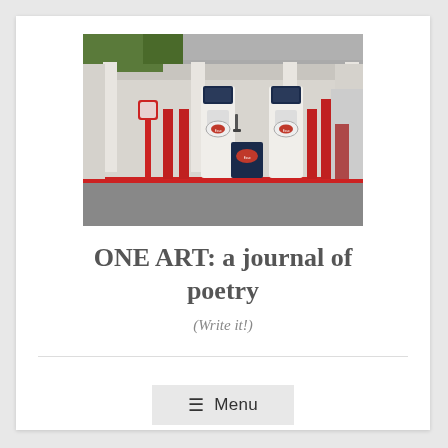[Figure (photo): Vintage Esso gas station with two white-and-navy gas pumps, a small red meter post on the left, a dark blue box in the center, and red cylindrical pillars, under a covered canopy with white columns, parking area in foreground.]
ONE ART: a journal of poetry
(Write it!)